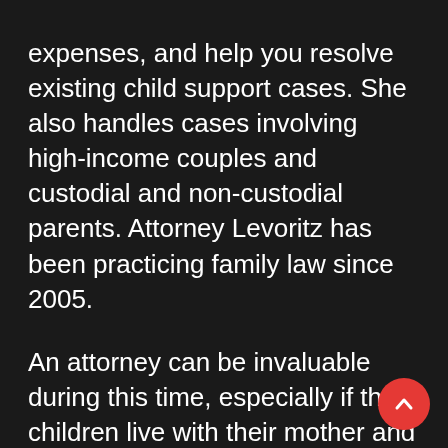expenses, and help you resolve existing child support cases. She also handles cases involving high-income couples and custodial and non-custodial parents. Attorney Levoritz has been practicing family law since 2005.
An attorney can be invaluable during this time, especially if the children live with their mother and the other parent is battling for custody. If you are in the middle of a divorce and you have no legal representation, you should be prepared to read all documents carefully and fill out forms completely with accurate facts without bias. Be prepared to appear at the courthouse on time as being late can affect your case. In addition, an